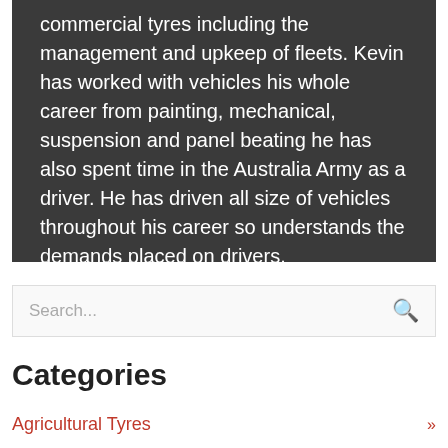commercial tyres including the management and upkeep of fleets. Kevin has worked with vehicles his whole career from painting, mechanical, suspension and panel beating he has also spent time in the Australia Army as a driver. He has driven all size of vehicles throughout his career so understands the demands placed on drivers.
Search...
Categories
Agricultural Tyres »